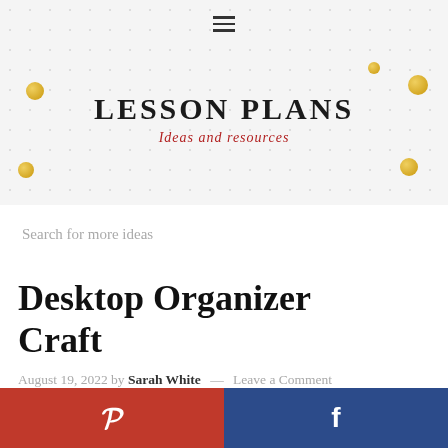LESSON PLANS — Ideas and resources
Search for more ideas
Desktop Organizer Craft
August 19, 2022 by Sarah White — Leave a Comment
[Figure (photo): Partial image of a desktop organizer craft, showing a red/orange pencil or marker against a light grey background]
Pinterest share button
Facebook share button